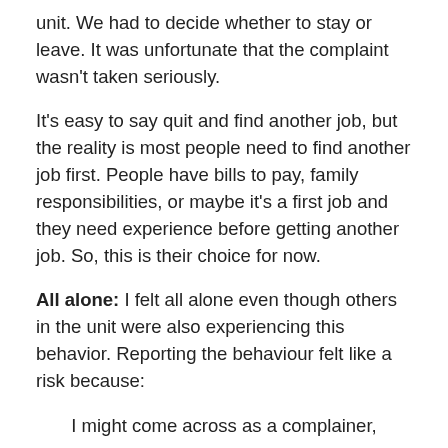unit. We had to decide whether to stay or leave. It was unfortunate that the complaint wasn't taken seriously.
It's easy to say quit and find another job, but the reality is most people need to find another job first. People have bills to pay, family responsibilities, or maybe it's a first job and they need experience before getting another job. So, this is their choice for now.
All alone: I felt all alone even though others in the unit were also experiencing this behavior. Reporting the behaviour felt like a risk because:
I might come across as a complainer,
There might be retaliation,
I might not be taken seriously,